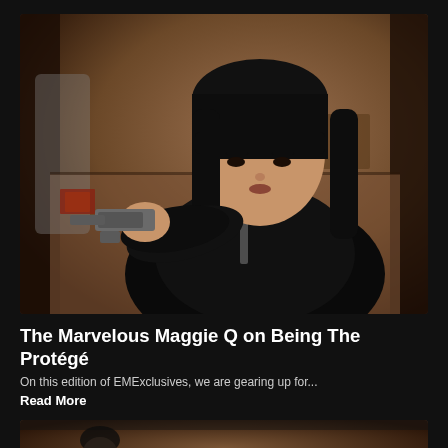[Figure (photo): Woman with black hair holding a gun, wearing a black leather jacket, in an action/movie scene]
The Marvelous Maggie Q on Being The Protégé
On this edition of EMExclusives, we are gearing up for...
Read More
[Figure (photo): Partially visible bottom image, appears to be another article thumbnail]